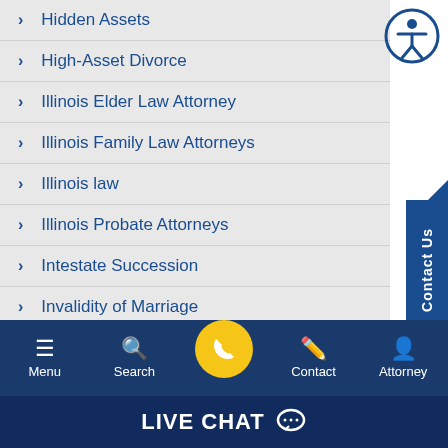Hidden Assets
High-Asset Divorce
Illinois Elder Law Attorney
Illinois Family Law Attorneys
Illinois law
Illinois Probate Attorneys
Intestate Succession
Invalidity of Marriage
Joint Parenting Agreement
Menu  Search  Contact  Attorney  LIVE CHAT